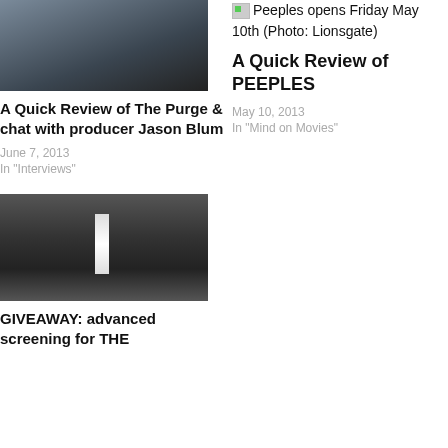[Figure (photo): Dark cinematic still from The Purge, showing a close-up of a person's face]
A Quick Review of The Purge & chat with producer Jason Blum
June 7, 2013
In "Interviews"
Peeples opens Friday May 10th (Photo: Lionsgate)
A Quick Review of PEEPLES
May 10, 2013
In "Mind on Movies"
[Figure (photo): Dark cinematic still showing a corridor or doorway with dramatic lighting]
GIVEAWAY: advanced screening for THE